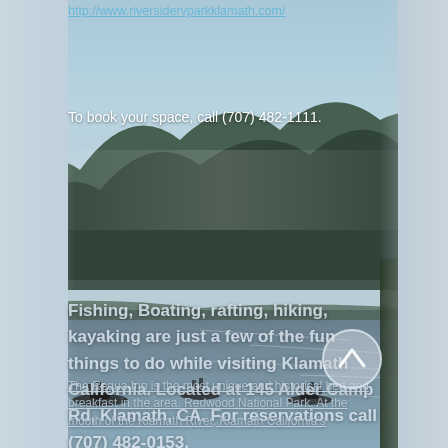[Figure (photo): Scenic landscape photo of a misty river or lake with forested hills in the background. Several fishing boats with people are visible on the water. The scene is in Klamath, California near the Klamath River.]
http://www.riversidervparkklamath.com/
To book your space, call (707) 482-1111.
Fishing, Boating, rafting, hiking, kayaking are just a few of the fun things to do while visiting Klamath California. Located at 145 Alder Camp Rd, Klamath, CA. For reservations call (707) 482-0153.
The Requa Inn is the most unique and historical bed and breakfast in the area. Redwood National Park. At the mouth of the Klamath River, Klamath California's